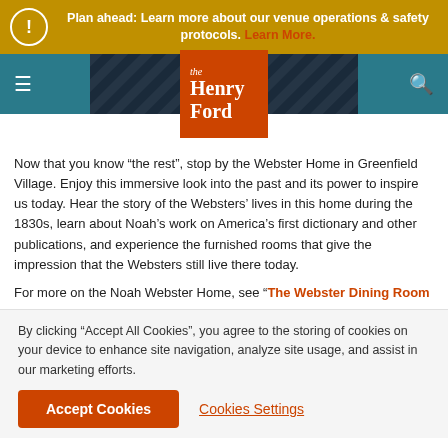Plan ahead: Learn more about our venue operations & safety protocols. Learn More.
[Figure (logo): The Henry Ford museum logo — orange square with 'the Henry Ford' text in white]
Now that you know “the rest”, stop by the Webster Home in Greenfield Village. Enjoy this immersive look into the past and its power to inspire us today. Hear the story of the Websters’ lives in this home during the 1830s, learn about Noah’s work on America’s first dictionary and other publications, and experience the furnished rooms that give the impression that the Websters still live there today.
For more on the Noah Webster Home, see “The Webster Dining Room
By clicking “Accept All Cookies”, you agree to the storing of cookies on your device to enhance site navigation, analyze site usage, and assist in our marketing efforts.
Accept Cookies   Cookies Settings